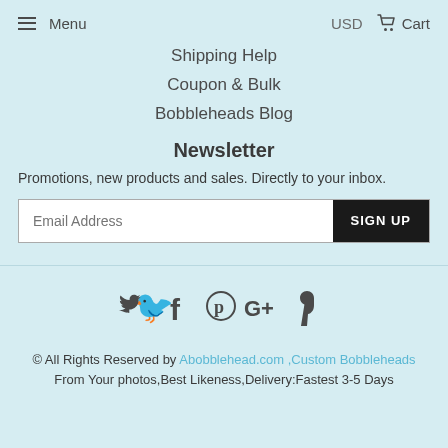Menu | USD | Cart
Shipping Help
Coupon & Bulk
Bobbleheads Blog
Newsletter
Promotions, new products and sales. Directly to your inbox.
Email Address  SIGN UP
© All Rights Reserved by Abobblehead.com ,Custom Bobbleheads From Your photos,Best Likeness,Delivery:Fastest 3-5 Days